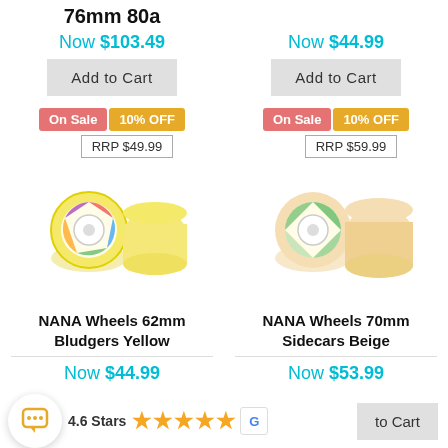76mm 80a
Now $103.49
Add to Cart
Now $44.99
Add to Cart
On Sale  10% OFF  RRP $49.99
On Sale  10% OFF  RRP $59.99
[Figure (photo): NANA Wheels 62mm Bludgers Yellow - two yellow skateboard wheels shown from front and side]
[Figure (photo): NANA Wheels 70mm Sidecars Beige - two beige skateboard wheels shown from front and side]
NANA Wheels 62mm Bludgers Yellow
NANA Wheels 70mm Sidecars Beige
Now $44.99
Now $53.99
4.6 Stars
to Cart